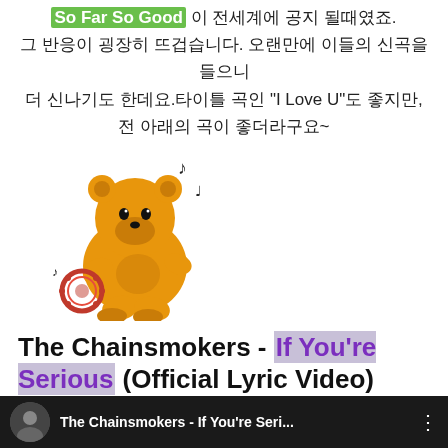So Far So Good 이 전세계에 공지 될때였죠. 그 반응이 굉장히 뜨겁습니다. 오랜만에 이들의 신곡을 들으니 더 신나기도 한데요.타이틀 곡인 "I Love U"도 좋지만, 전 아래의 곡이 좋더라구요~
[Figure (illustration): Kakao Friends Ryan bear character playing tambourine with music notes]
The Chainsmokers - If You're Serious (Official Lyric Video) (2022.05.13)
[Figure (screenshot): YouTube video bar showing The Chainsmokers - If You're Seri... with circular profile image on dark background]